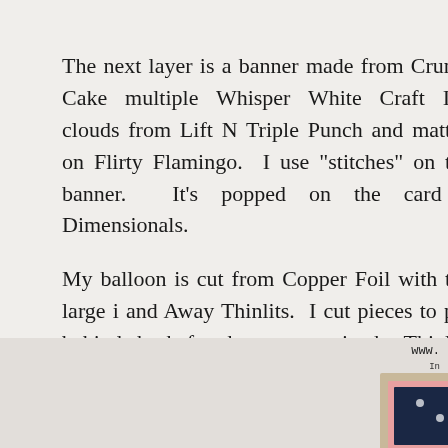The next layer is a banner made from Crumb Cake multiple Whisper White Craft Ink clouds from Lift N Triple Punch and matted on Flirty Flamingo.  I use "stitches" on the banner.  It's popped on the card f Dimensionals.
My balloon is cut from Copper Foil with the large i and Away Thinlits.  I cut pieces to put behind the b for that purpose in the Thinlits set.  I alternated Fl Designer Series Paper, with the basket cut in Flirt pieces to the back of the Copper balloon using Lic pattern facing out.
[Figure (photo): Bottom portion of page showing a partial card image with a navy/pink/tan layered card design with polka dots, and a small watermark url in the upper right area of the image region.]